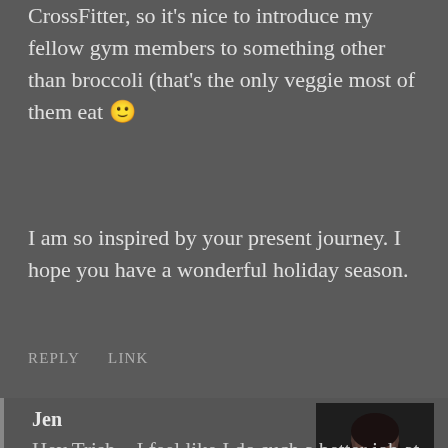CrossFitter, so it's nice to introduce my fellow gym members to something other than broccoli (that's the only veggie most of them eat 🙂
I am so inspired by your present journey. I hope you have a wonderful holiday season.
REPLY   LINK
Jen
[Figure (photo): Portrait photo of Jen, a woman in dark clothing against a dark background]
Hey Trish – I feel like I do such a better job at eating seasonally during the spring/summer/early fall when I am going to the farmer's market regularly. When I am not going to the market regularly, I find it a lot harder to do because you can get everything regardless of the season at the grocery store. Definitely something to be